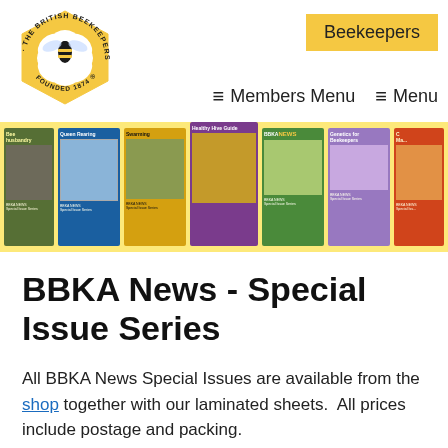[Figure (logo): British Beekeepers Association circular logo with bee and honeycomb, Founded 1874]
Beekeepers   ≡ Members Menu   ≡ Menu
[Figure (photo): Banner showing a row of BBKA News Special Issue Series booklets including Queen Rearing, Swarming, Healthy Hive Guide, BBKA News, Genetics for Beekeepers, and others on a yellow background]
BBKA News - Special Issue Series
All BBKA News Special Issues are available from the shop together with our laminated sheets.  All prices include postage and packing.